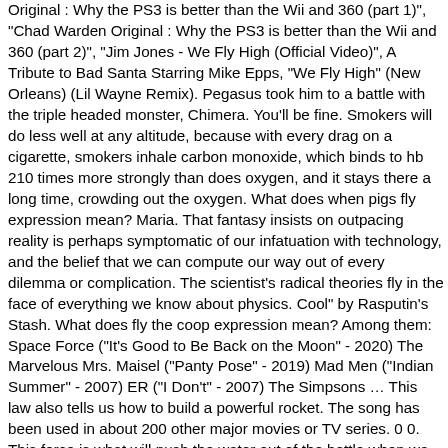Original : Why the PS3 is better than the Wii and 360 (part 1)", "Chad Warden Original : Why the PS3 is better than the Wii and 360 (part 2)", "Jim Jones - We Fly High (Official Video)", A Tribute to Bad Santa Starring Mike Epps, "We Fly High" (New Orleans) (Lil Wayne Remix). Pegasus took him to a battle with the triple headed monster, Chimera. You'll be fine. Smokers will do less well at any altitude, because with every drag on a cigarette, smokers inhale carbon monoxide, which binds to hb 210 times more strongly than does oxygen, and it stays there a long time, crowding out the oxygen. What does when pigs fly expression mean? Maria. That fantasy insists on outpacing reality is perhaps symptomatic of our infatuation with technology, and the belief that we can compute our way out of every dilemma or complication. The scientist's radical theories fly in the face of everything we know about physics. Cool" by Rasputin's Stash. What does fly the coop expression mean? Among them: Space Force ("It's Good to Be Back on the Moon" - 2020) The Marvelous Mrs. Maisel ("Panty Pose" - 2019) Mad Men ("Indian Summer" - 2007) ER ("I Don't" - 2007) The Simpsons … This law also tells us how to build a powerful rocket. The song has been used in about 200 other major movies or TV series. 0 0. This force is what will push the water out of the bottle when we pull the trigger and quickly releases the pressure. But actually it's not. From ghosts and